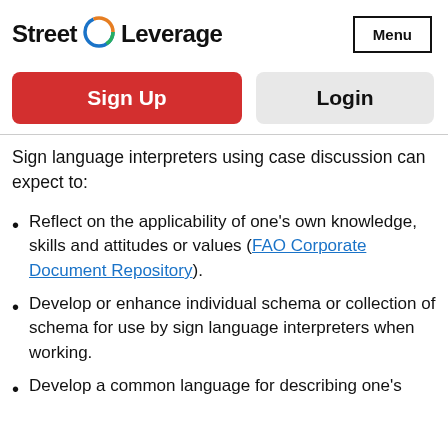Street Leverage  Menu
Sign Up   Login
Sign language interpreters using case discussion can expect to:
Reflect on the applicability of one's own knowledge, skills and attitudes or values (FAO Corporate Document Repository).
Develop or enhance individual schema or collection of schema for use by sign language interpreters when working.
Develop a common language for describing one's